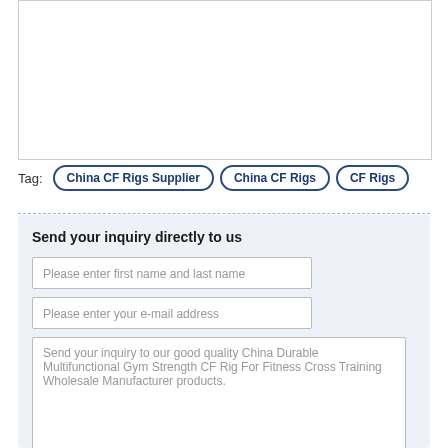[Figure (other): White empty image placeholder with border]
Tag:  China CF Rigs Supplier  China CF Rigs  CF Rigs
Send your inquiry directly to us
Please enter first name and last name
Please enter your e-mail address
Send your inquiry to our good quality China Durable Multifunctional Gym Strength CF Rig For Fitness Cross Training Wholesale Manufacturer products.